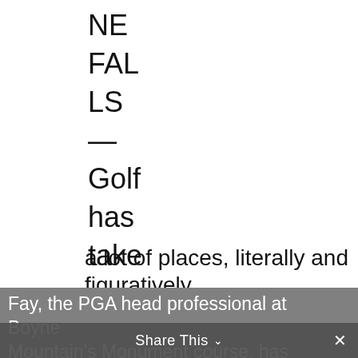NE FAL LS — Golf has taken Mic hael Fay a lot of places, literally and figuratively.
Latest stop: The Golf Channel.
Fay, the PGA head professional at Boyne Mountain's Monument course, has joined